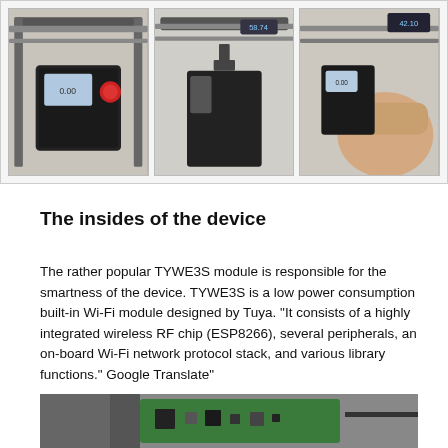[Figure (photo): Three photos side by side showing a digital caliper measuring a small electronic device/module from different angles, placed on a light surface.]
The insides of the device
The rather popular TYWE3S module is responsible for the smartness of the device. TYWE3S is a low power consumption built-in Wi-Fi module designed by Tuya. “It consists of a highly integrated wireless RF chip (ESP8266), several peripherals, an on-board Wi-Fi network protocol stack, and various library functions.” Google Translate”
[Figure (photo): Close-up photo of the inside of the device showing a green circuit board with electronic components.]